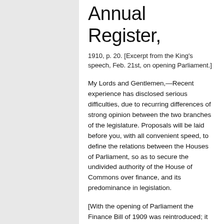Annual Register,
1910, p. 20. [Excerpt from the King's speech, Feb. 21st, on opening Parliament.]
My Lords and Gentlemen,—Recent experience has disclosed serious difficulties, due to recurring differences of strong opinion between the two branches of the legislature. Proposals will be laid before you, with all convenient speed, to define the relations between the Houses of Parliament, so as to secure the undivided authority of the House of Commons over finance, and its predominance in legislation.
[With the opening of Parliament the Finance Bill of 1909 was reintroduced; it passed the Commons again on April 27,